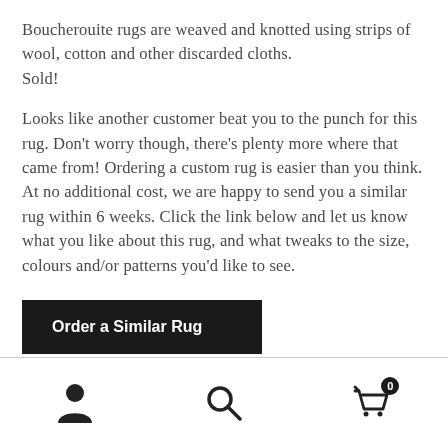Boucherouite rugs are weaved and knotted using strips of wool, cotton and other discarded cloths.
Sold!
Looks like another customer beat you to the punch for this rug. Don't worry though, there's plenty more where that came from! Ordering a custom rug is easier than you think. At no additional cost, we are happy to send you a similar rug within 6 weeks. Click the link below and let us know what you like about this rug, and what tweaks to the size, colours and/or patterns you'd like to see.
Order a Similar Rug
[Figure (infographic): Bottom navigation bar with three icons: a person/account icon on the left, a search magnifying glass icon in the center, and a shopping cart icon with a badge showing '0' on the right.]